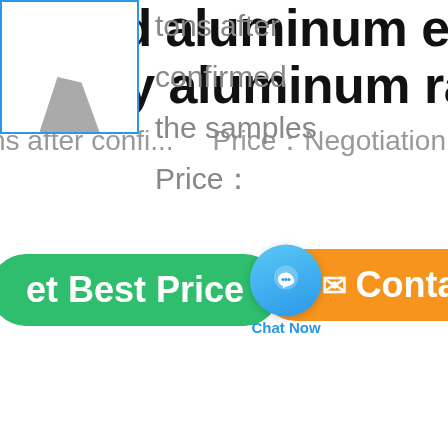odized aluminum extrusion pro
supply aluminum radiator extru
ns after confi...   Price：Negotiation
[Figure (screenshot): Green 'Get Best Price' button, blue 'Chat Now' circular button overlay, orange 'Contact' button]
[Figure (photo): Product image thumbnail in blue border]
tons after confirmed the samples Price：